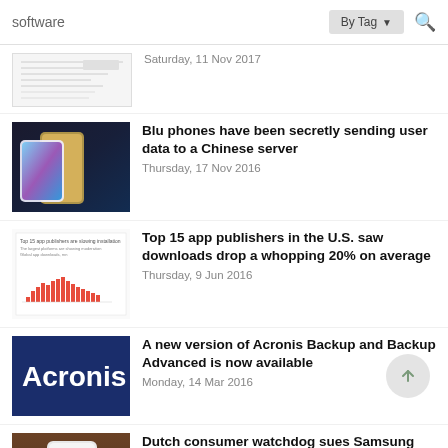software | By Tag
[Figure (screenshot): Partial article thumbnail showing a document/table]
Saturday, 11 Nov 2017
[Figure (photo): Blu phones – gold and white smartphones on dark background]
Blu phones have been secretly sending user data to a Chinese server
Thursday, 17 Nov 2016
[Figure (screenshot): Bar chart thumbnail showing app download data]
Top 15 app publishers in the U.S. saw downloads drop a whopping 20% on average
Thursday, 9 Jun 2016
[Figure (logo): Acronis logo on dark blue background]
A new version of Acronis Backup and Backup Advanced is now available
Monday, 14 Mar 2016
[Figure (photo): Samsung smartphone on wooden table]
Dutch consumer watchdog sues Samsung for not updating software on its phones
Wednesday, 20 Jan 2016